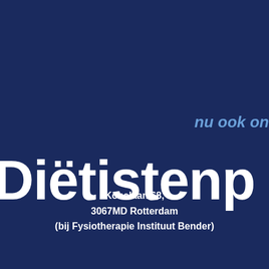nu ook on
Diëtistenp
Kobelaan 68,
3067MD Rotterdam
(bij Fysiotherapie Instituut Bender)